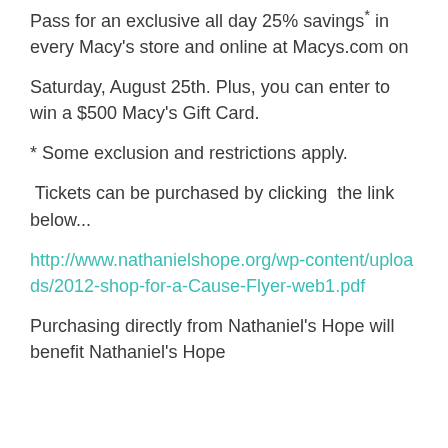Pass for an exclusive all day 25% savings* in every Macy's store and online at Macys.com on
Saturday, August 25th. Plus, you can enter to win a $500 Macy's Gift Card.
* Some exclusion and restrictions apply.
Tickets can be purchased by clicking the link below...
http://www.nathanielshope.org/wp-content/uploads/2012-shop-for-a-Cause-Flyer-web1.pdf
Purchasing directly from Nathaniel's Hope will benefit Nathaniel's Hope